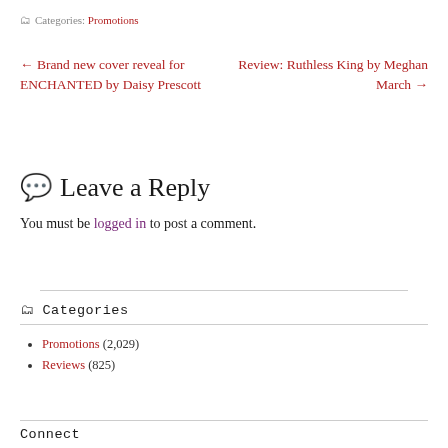Categories: Promotions
← Brand new cover reveal for ENCHANTED by Daisy Prescott
Review: Ruthless King by Meghan March →
Leave a Reply
You must be logged in to post a comment.
Categories
Promotions (2,029)
Reviews (825)
Connect